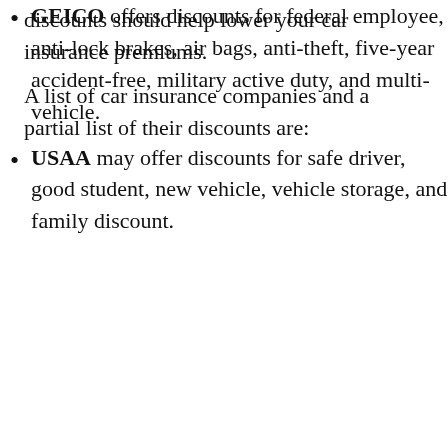discounts should help lower your car insurance premiums.
A list of car insurance companies and a partial list of their discounts are:
GEICO offers discounts for federal employee, anti-lock brakes, air bags, anti-theft, five-year accident-free, military active duty, and multi-vehicle.
USAA may offer discounts for safe driver, good student, new vehicle, vehicle storage, and family discount.